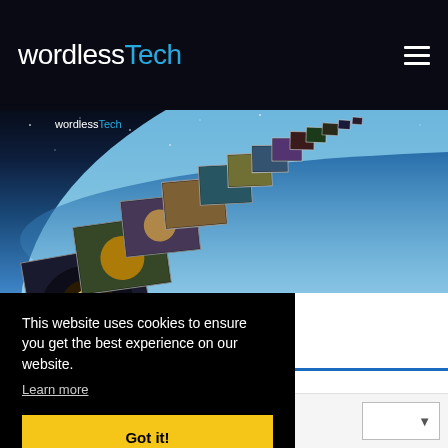wordlessTech
[Figure (screenshot): wordlessTech website screenshot showing hero image of Earth from space with stacked photo thumbnails and the wordlessTech logo overlay]
This website uses cookies to ensure you get the best experience on our website.
Learn more
Got it!
Select Month